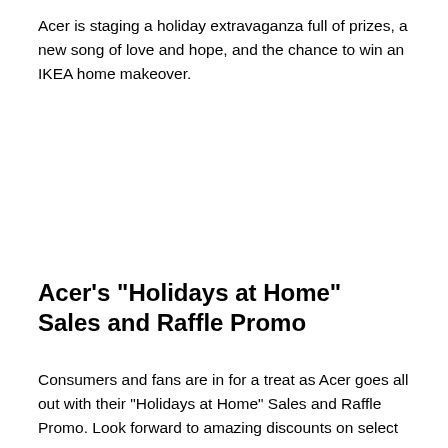Acer is staging a holiday extravaganza full of prizes, a new song of love and hope, and the chance to win an IKEA home makeover.
Acer's "Holidays at Home" Sales and Raffle Promo
Consumers and fans are in for a treat as Acer goes all out with their "Holidays at Home" Sales and Raffle Promo. Look forward to amazing discounts on select